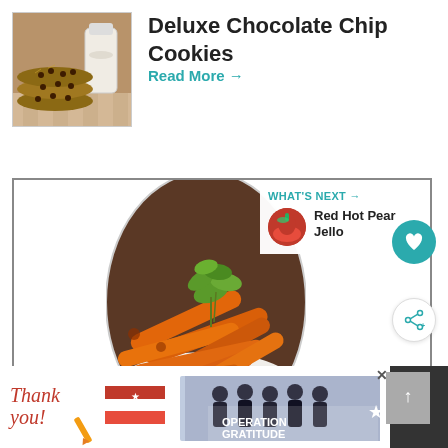[Figure (photo): Stack of oatmeal chocolate chip cookies next to a glass jar of milk on a checkered cloth]
Deluxe Chocolate Chip Cookies
Read More →
[Figure (photo): Oval-cropped photo of roasted carrots with fresh herb garnish in a white bowl]
WHAT'S NEXT → Red Hot Pear Jello
[Figure (photo): Advertisement banner: Thank you firefighters with Operation Gratitude logo]